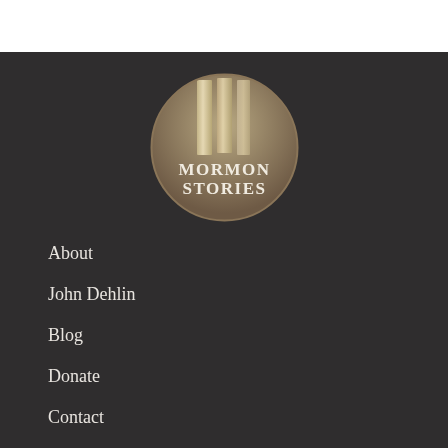[Figure (logo): Mormon Stories circular logo with two vertical pillar/column shapes at top and 'MORMON STORIES' text in serif font, on a tan/brown gradient background]
About
John Dehlin
Blog
Donate
Contact
Podcast